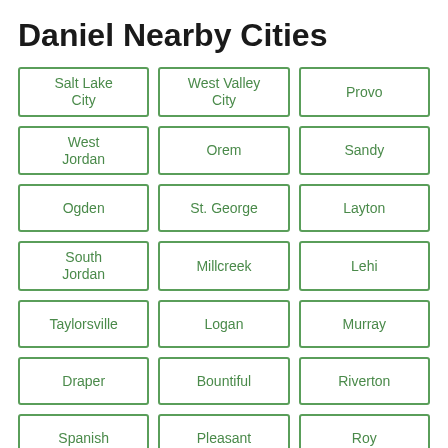Daniel Nearby Cities
Salt Lake City
West Valley City
Provo
West Jordan
Orem
Sandy
Ogden
St. George
Layton
South Jordan
Millcreek
Lehi
Taylorsville
Logan
Murray
Draper
Bountiful
Riverton
Spanish
Pleasant
Roy